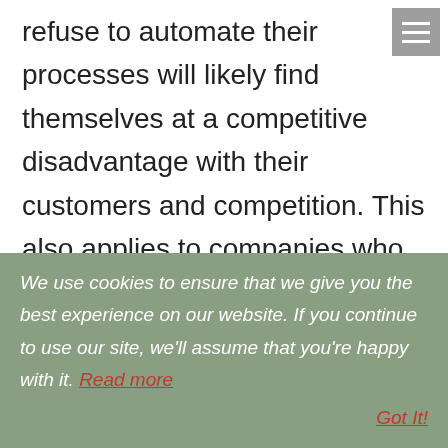refuse to automate their processes will likely find themselves at a competitive disadvantage with their customers and competition. This also applies to companies who automate one part of their process, or a few parts, and stop there—as the world turns more toward automation, it's important to stay up-to-date with equipment upgrades and opportunities for
We use cookies to ensure that we give you the best experience on our website. If you continue to use our site, we'll assume that you're happy with it. Read more Got It!